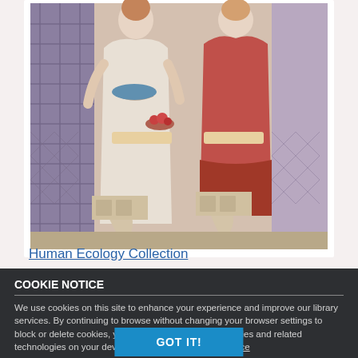[Figure (illustration): Painting showing two women seated at a table, appearing to be engaged in food preparation or crafts. The image is partially visible, cropped at top and bottom. Background features decorative lattice pattern. Warm tones with reds, pinks, and muted colors. White card/mat border visible around painting.]
Human Ecology Collection
COOKIE NOTICE
We use cookies on this site to enhance your experience and improve our library services. By continuing to browse without changing your browser settings to block or delete cookies, you agree to the storing of cookies and related technologies on your device. UW–Madison Privacy Notice
GOT IT!